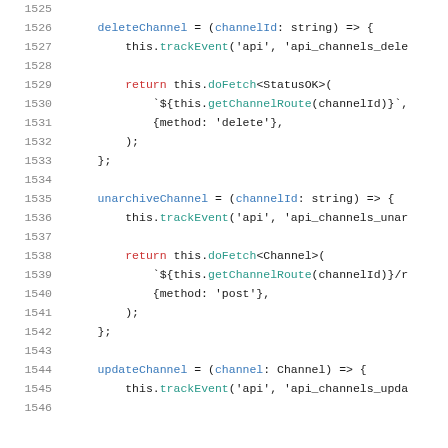[Figure (screenshot): Source code screenshot showing TypeScript class methods: deleteChannel, unarchiveChannel, and updateChannel, with line numbers 1525-1546]